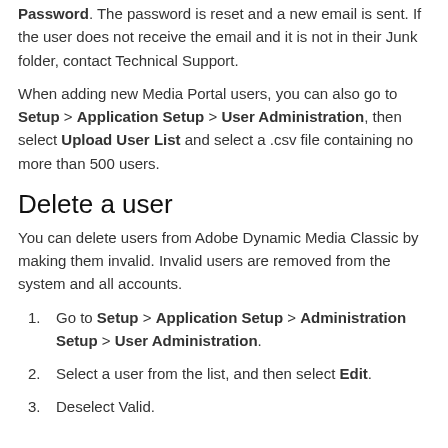Password. The password is reset and a new email is sent. If the user does not receive the email and it is not in their Junk folder, contact Technical Support.
When adding new Media Portal users, you can also go to Setup > Application Setup > User Administration, then select Upload User List and select a .csv file containing no more than 500 users.
Delete a user
You can delete users from Adobe Dynamic Media Classic by making them invalid. Invalid users are removed from the system and all accounts.
Go to Setup > Application Setup > Administration Setup > User Administration.
Select a user from the list, and then select Edit.
Deselect Valid.